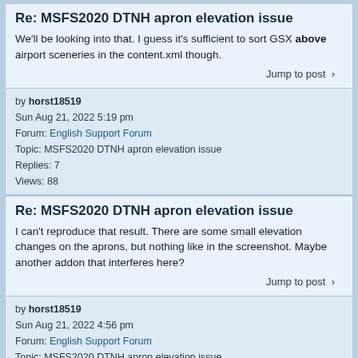Re: MSFS2020 DTNH apron elevation issue
We'll be looking into that. I guess it's sufficient to sort GSX above airport sceneries in the content.xml though.
Jump to post ›
by horst18519
Sun Aug 21, 2022 5:19 pm
Forum: English Support Forum
Topic: MSFS2020 DTNH apron elevation issue
Replies: 7
Views: 88
Re: MSFS2020 DTNH apron elevation issue
I can't reproduce that result. There are some small elevation changes on the aprons, but nothing like in the screenshot. Maybe another addon that interferes here?
Jump to post ›
by horst18519
Sun Aug 21, 2022 4:56 pm
Forum: English Support Forum
Topic: MSFS2020 DTNH apron elevation issue
Replies: 7
Views: 88
Re: MSFS2020 DTNH apron elevation issue
Will check that.
Jump to post ›